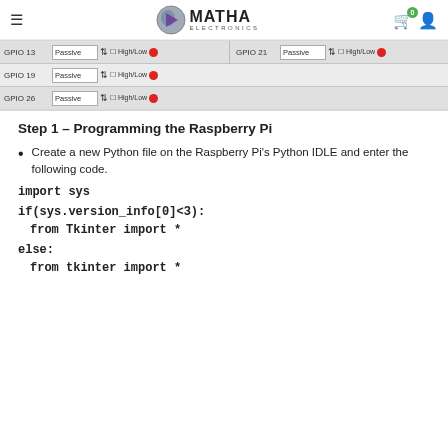MATHA ELECTRONICS
[Figure (screenshot): GPIO configuration interface showing GPIO 13, GPIO 19, GPIO 26 on left and GPIO 21 on right, each with Passive type, High/Low checkbox, and red indicator dot]
Step 1 – Programming the Raspberry Pi
Create a new Python file on the Raspberry Pi's Python IDLE and enter the following code.
import sys
if(sys.version_info[0]<3):
from Tkinter import *
else:
from tkinter import *